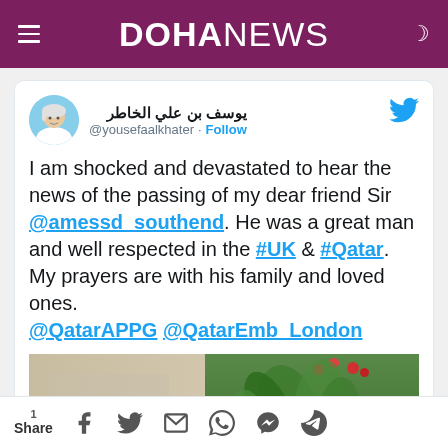DOHANEWS
[Figure (screenshot): Embedded tweet from @yousefaalkhater (يوسف بن علي الخاطر) with Twitter bird icon, profile avatar, handle, and Follow button]
I am shocked and devastated to hear the news of the passing of my dear friend Sir @amessd_southend. He was a great man and well respected in the #UK & #Qatar. My prayers are with his family and loved ones. @QatarAPPG @QatarEmb_London
[Figure (photo): Partial photo showing plants and interior decor at the bottom of the tweet card]
1 Share [social share icons: Facebook, Twitter, Email, WhatsApp, Messenger, Telegram]